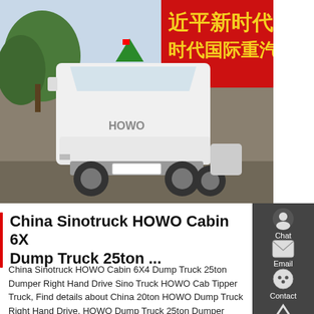[Figure (photo): White Sinotruck HOWO cabin truck (6x4) parked on a concrete surface, with trees in background and a red Chinese banner/sign partially visible on the right side.]
China Sinotruck HOWO Cabin 6X4 Dump Truck 25ton ...
China Sinotruck HOWO Cabin 6X4 Dump Truck 25ton Dumper Right Hand Drive Sino Truck HOWO Cab Tipper Truck, Find details about China 20ton HOWO Dump Truck Right Hand Drive, HOWO Dump Truck 25ton Dumper Right Hand Drive from Sinotruck